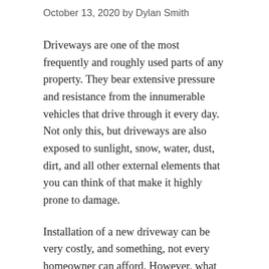October 13, 2020 by Dylan Smith
Driveways are one of the most frequently and roughly used parts of any property. They bear extensive pressure and resistance from the innumerable vehicles that drive through it every day. Not only this, but driveways are also exposed to sunlight, snow, water, dust, dirt, and all other external elements that you can think of that make it highly prone to damage.
Installation of a new driveway can be very costly, and something, not every homeowner can afford. However, what everyone can do is do everything it takes to maintain their driveway and keep it in the best condition. If you're interested to know how you can keep your driveway looking great